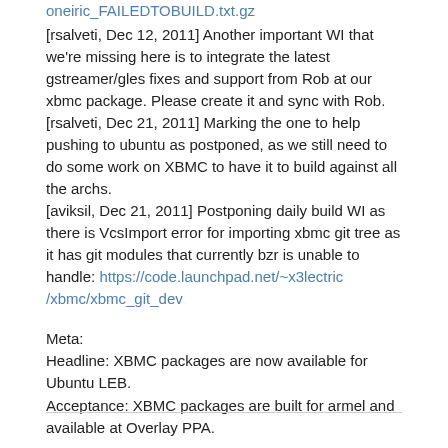oneiric_FAILEDTOBUILD.txt.gz (link)
[rsalveti, Dec 12, 2011] Another important WI that we're missing here is to integrate the latest gstreamer/gles fixes and support from Rob at our xbmc package. Please create it and sync with Rob. [rsalveti, Dec 21, 2011] Marking the one to help pushing to ubuntu as postponed, as we still need to do some work on XBMC to have it to build against all the archs. [aviksil, Dec 21, 2011] Postponing daily build WI as there is VcsImport error for importing xbmc git tree as it has git modules that currently bzr is unable to handle: https://code.launchpad.net/~x3lectric/xbmc/xbmc_git_dev
Meta:
Headline: XBMC packages are now available for Ubuntu LEB.
Acceptance: XBMC packages are built for armel and available at Overlay PPA.